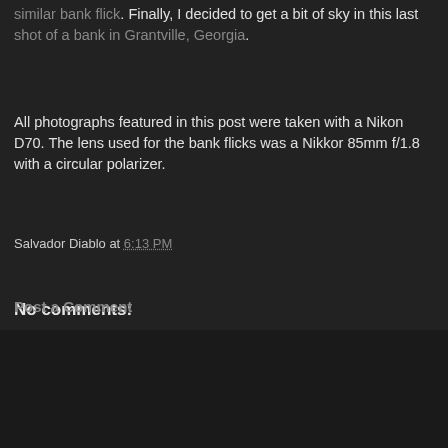similar bank flick. Finally, I decided to get a bit of sky in this last shot of a bank in Grantville, Georgia.
All photographs featured in this post were taken with a Nikon D70. The lens used for the bank flicks was a Nikkor 85mm f/1.8 with a circular polarizer.
Salvador Diablo at 6:13 PM
Share
No comments:
Post a Comment
Home
View web version
Powered by Blogger.